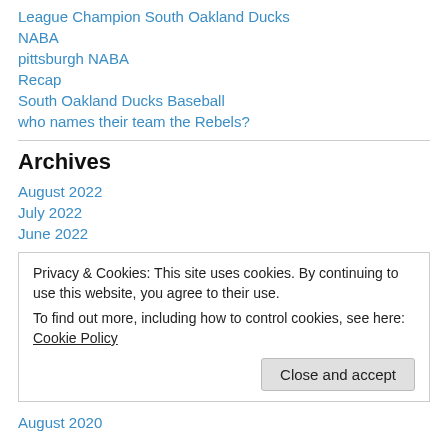League Champion South Oakland Ducks
NABA
pittsburgh NABA
Recap
South Oakland Ducks Baseball
who names their team the Rebels?
Archives
August 2022
July 2022
June 2022
Privacy & Cookies: This site uses cookies. By continuing to use this website, you agree to their use.
To find out more, including how to control cookies, see here: Cookie Policy
August 2020